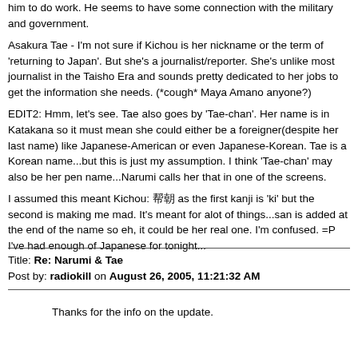him to do work. He seems to have some connection with the military and government.

Asakura Tae - I'm not sure if Kichou is her nickname or the term of 'returning to Japan'. But she's a journalist/reporter. She's unlike most journalist in the Taisho Era and sounds pretty dedicated to her jobs to get the information she needs. (*cough* Maya Amano anyone?)

EDIT2: Hmm, let's see. Tae also goes by 'Tae-chan'. Her name is in Katakana so it must mean she could either be a foreigner(despite her last name) like Japanese-American or even Japanese-Korean. Tae is a Korean name...but this is just my assumption. I think 'Tae-chan' may also be her pen name...Narumi calls her that in one of the screens.

I assumed this meant Kichou: 帰朝 as the first kanji is 'ki' but the second is making me mad. It's meant for alot of things...san is added at the end of the name so eh, it could be her real one. I'm confused. =P I've had enough of Japanese for tonight...
Title: Re: Narumi & Tae
Post by: radiokill on August 26, 2005, 11:21:32 AM
Thanks for the info on the update.